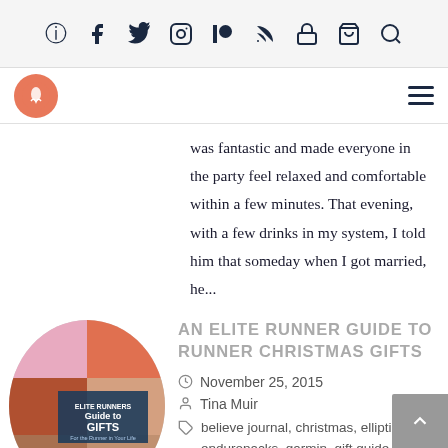Social media icons: Facebook, Twitter, Instagram, Patreon, RSS, Lock, Cart, Search
[Figure (logo): Orange circular logo with runner/flame icon, and hamburger menu on the right]
was fantastic and made everyone in the party feel relaxed and comfortable within a few minutes. That evening, with a few drinks in my system, I told him that someday when I got married, he...
[Figure (photo): Oval collage of runner images with text 'ELITE RUNNERS Guide to GIFTS For the Runner in Your Life' and other running photos]
An Elite Runner Guide to Runner Christmas Gifts
November 25, 2015
Tina Muir
believe journal, christmas, elliptigo, enduropacks, garmin, gift guide,